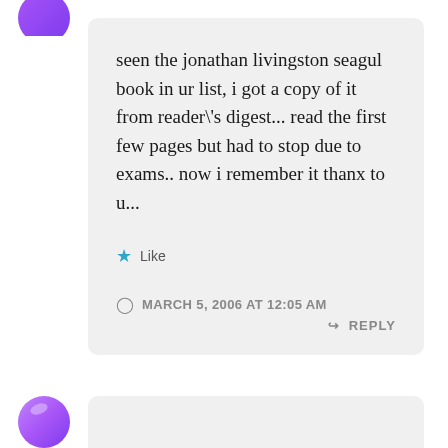seen the jonathan livingston seagul book in ur list, i got a copy of it from reader\'s digest... read the first few pages but had to stop due to exams.. now i remember it thanx to u...
★ Like
MARCH 5, 2006 AT 12:05 AM
↳ REPLY